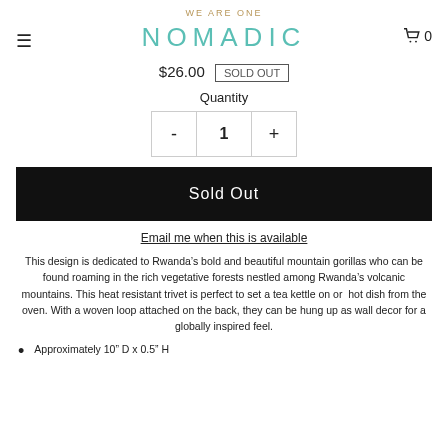WE ARE ONE
NOMADIC
$26.00  SOLD OUT
Quantity
- 1 +
Sold Out
Email me when this is available
This design is dedicated to Rwanda’s bold and beautiful mountain gorillas who can be found roaming in the rich vegetative forests nestled among Rwanda’s volcanic mountains. This heat resistant trivet is perfect to set a tea kettle on or  hot dish from the oven. With a woven loop attached on the back, they can be hung up as wall decor for a globally inspired feel.
Approximately 10” D x 0.5” H